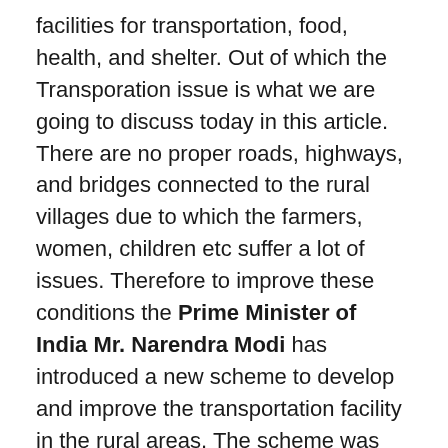facilities for transportation, food, health, and shelter. Out of which the Transporation issue is what we are going to discuss today in this article. There are no proper roads, highways, and bridges connected to the rural villages due to which the farmers, women, children etc suffer a lot of issues. Therefore to improve these conditions the Prime Minister of India Mr. Narendra Modi has introduced a new scheme to develop and improve the transportation facility in the rural areas. The scheme was called as the Pradhan Mantri Gram Parivahan Yojana Scheme. The main objective of the Yojana is to provide subsidies to the rural population to buy passenger vehicles like minivans, small buses etc. Proper roads and other modes of transportation are the strong initiatives for the development. This is a move started by the Government to boost the transportation facilities in the rural places in India.